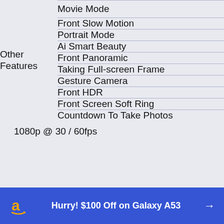| Category | Feature |
| --- | --- |
| Movie Mode |  |
| Other Features | Front Slow Motion |
|  | Portrait Mode |
|  | Ai Smart Beauty |
|  | Front Panoramic |
|  | Taking Full-screen Frame |
|  | Gesture Camera |
|  | Front HDR |
|  | Front Screen Soft Ring |
|  | Countdown To Take Photos |
1080p @ 30 / 60fps
Hurry! $100 Off on Galaxy A53